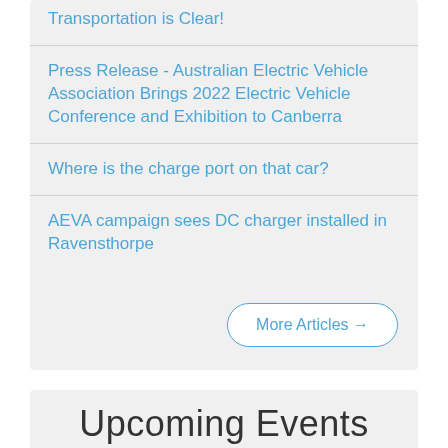Transportation is Clear!
Press Release - Australian Electric Vehicle Association Brings 2022 Electric Vehicle Conference and Exhibition to Canberra
Where is the charge port on that car?
AEVA campaign sees DC charger installed in Ravensthorpe
More Articles →
Upcoming Events